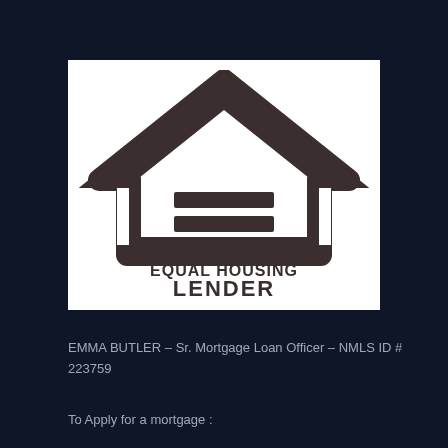[Figure (logo): Equal Housing Lender logo — house outline with equal sign (two horizontal bars) inside, text 'EQUAL HOUSING' above 'LENDER' below in bold black sans-serif on white background]
EMMA BUTLER – Sr. Mortgage Loan Officer – NMLS ID # 223759
To Apply for a mortgage :